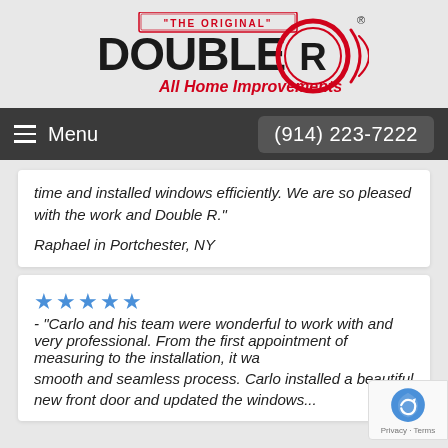[Figure (logo): Double R All Home Improvements logo with 'THE ORIGINAL' text, large DOUBLE R text, circular R emblem in red and black, and 'All Home Improvements' tagline in red italic]
Menu   (914) 223-7222
time and installed windows efficiently. We are so pleased with the work and Double R."
Raphael in Portchester, NY
★★★★★ - "Carlo and his team were wonderful to work with and very professional.  From the first appointment of measuring to the installation, it was a smooth and seamless process.  Carlo installed a beautiful new front door and updated the windows...